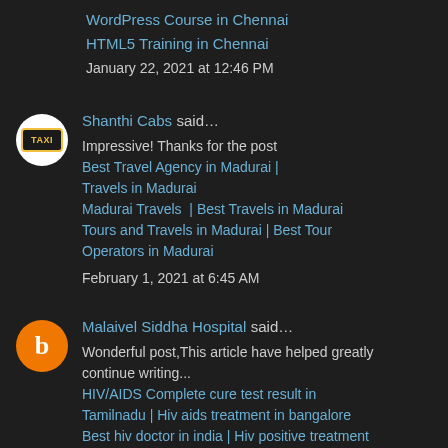WordPress Course in Chennai
HTML5 Training in Chennai
January 22, 2021 at 12:46 PM
Shanthi Cabs said...
Impressive! Thanks for the post
Best Travel Agency in Madurai | Travels in Madurai
Madurai Travels  | Best Travels in Madurai
Tours and Travels in Madurai | Best Tour Operators in Madurai
February 1, 2021 at 6:45 AM
Malaivel Siddha Hospital said...
Wonderful post,This article have helped greatly continue writing...
HIV/AIDS Complete cure test result in Tamilnadu | Hiv aids treatment in bangalore
Best hiv doctor in india | Hiv positive treatment in india